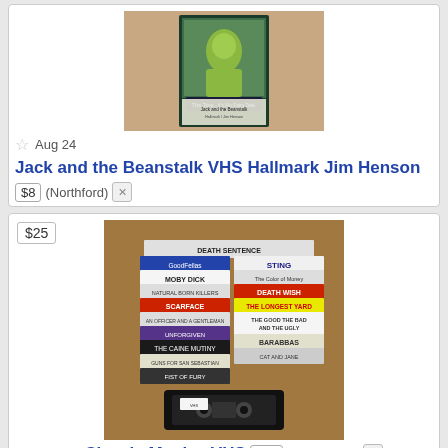[Figure (photo): VHS tape of Jack and the Beanstalk - Hallmark Jim Henson, shown standing upright]
Aug 24  Jack and the Beanstalk VHS Hallmark Jim Henson  $8  (Northford)
[Figure (photo): Stack of classic VHS tapes including titles like Moby Dick, Sting, Death Wish, The Longest Yard, Barabbas, and others, with a loose VHS tape in front]
Aug 23  Classic Movies VHS  $25  (E. Norwalk)